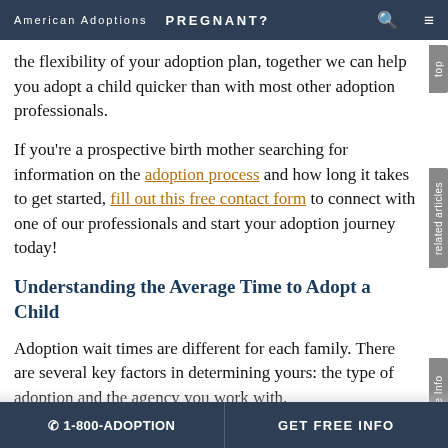American Adoptions   PREGNANT?
the flexibility of your adoption plan, together we can help you adopt a child quicker than with most other adoption professionals.
If you're a prospective birth mother searching for information on the adoption process and how long it takes to get started, fill out this free contact form to connect with one of our professionals and start your adoption journey today!
Understanding the Average Time to Adopt a Child
Adoption wait times are different for each family. There are several key factors in determining yours: the type of adoption and the agency you work with.
☎ 1-800-ADOPTION   GET FREE INFO